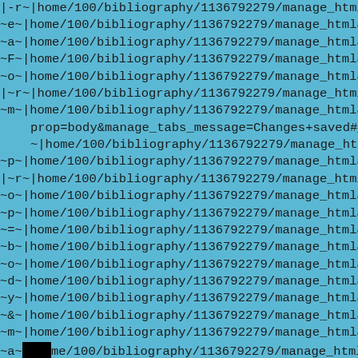|-r~|home/100/bibliography/1136792279/manage_htmlareaForm?
~e~|home/100/bibliography/1136792279/manage_htmlareaForm?
~a~|home/100/bibliography/1136792279/manage_htmlareaForm?
~F~|home/100/bibliography/1136792279/manage_htmlareaForm?
~o~|home/100/bibliography/1136792279/manage_htmlareaForm?
|~r~|home/100/bibliography/1136792279/manage_htmlareaForm?
~m~|home/100/bibliography/1136792279/manage_htmlareaForm?
prop=body&manage_tabs_message=Changes+saved#_ftn4|~?
~|home/100/bibliography/1136792279/manage_htmlareaForm?
~p~|home/100/bibliography/1136792279/manage_htmlareaForm?
|~r~|home/100/bibliography/1136792279/manage_htmlareaForm?
~o~|home/100/bibliography/1136792279/manage_htmlareaForm?
~p~|home/100/bibliography/1136792279/manage_htmlareaForm?
~=~|home/100/bibliography/1136792279/manage_htmlareaForm?
~b~|home/100/bibliography/1136792279/manage_htmlareaForm?
~o~|home/100/bibliography/1136792279/manage_htmlareaForm?
~d~|home/100/bibliography/1136792279/manage_htmlareaForm?
~y~|home/100/bibliography/1136792279/manage_htmlareaForm?
~&~|home/100/bibliography/1136792279/manage_htmlareaForm?
~m~|home/100/bibliography/1136792279/manage_htmlareaForm?
~a~[black box]me/100/bibliography/1136792279/manage_htmlareaForm?
~n~|home/100/bibliography/1136792279/manage_htmlareaForm?